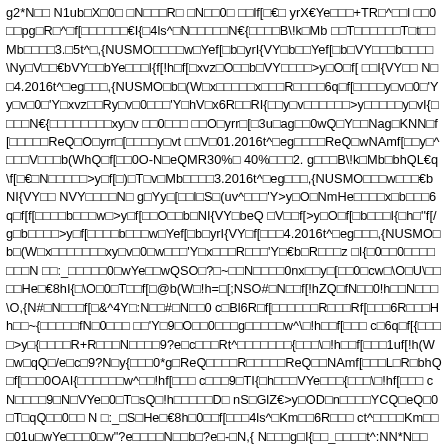g2*N□□ N1ub□X□0□ □N□□□R□ □N□□0□ □□lf[□€□ yrX€Ye□□□+TR□^□□l □□0□□pg□R□^□f[□□□□□□€I{□4ls^□N□□□□□N€{□□□□B\!k□Mb □□T□□□□□□T□t□□Mb□□□□3.□5t^□,{NUSMO□□□□w□Yef[□b□yrI{VY□b□□Yef[□b□VY□□□b□□□□\Ny□V□□€bVY□□bYe□□□I{f[!h□f[□xvz□O□□b□VY□□□□>y□O□f[ □□I{VY□□ N□□4.2016t^□eg□□□,{NUSMO□b□(W□x□□□□□x□□□R□□□□6q□f[□□□□y□v□0□'Yy□v□0□'Y□xvz□□Ry□v□0□□□'Y□hV□x6R□□RI{□□y□v□□□□□□>y□□□□□y□vI{□□□□N€{□□□□□□□□xy□v □□0□□□ □□O□yrr□[□3u□ag□□0wQ□Y□□Nag□KNN□f[□□□□□ReQ□O□yrr□[□□□□y□vt □□V□01.2016t^□eg□□□□ReQ□wNAmf[□□y□^□□□V□□□b(WhQ□f[□□0O-N□eQMR30%□ 40%□□□2. g□□□B\!k□Mb□bhQL€q\f[□€□N□□□□□>y□f[□)□T□v□Mb□□□□3.2016t^□eg□□□,{NUSMO□□□w□□□€bNI{VY□□ NVY□□□□N□ g□Yy□[□□l□S□(uv^□□□'Y>y□O□NmHe□□□□x□b□□□6q□f[f[□□□□b□□□w□>y□f[□□O□□b□NI{VY□beQ □V□□f[>y□O□f[□b□□□I{□h□''f[/g□b□□□□>y□f[□□□□b□□□w□Yef[□b□yrI{VY□f[□□□4.2016t^□eg□□□,{NUSMO□b□(W□x□□□□□□□xy□v□0□w□□□'Y□x□□□R□□□'Y□€b□R□□□z □I{□0□□0□□□□□□□N □□:_□□□□□0□wYe□□wQSO□?□~□□N□□□□0nx□□y□[□□0□cw□\O□U\□□□□He□€8hI{□\O□0□T□□f[□@b(W□!h=□[;NSO#□N□□f[!hZQ□fN□□0!h□□N□□□\O,{N#□N□□□f[□&^4Y□:N□□#□N□□0 c□Bl6R□f[□□□□□□R□□□Rf[□□□6R□□□Hh□□~{□□□□□fN□0□□□ □□'Y□9□O□□0□□□g□□□□□w^\□!h□□f[□□□ c□6q□f[{□□□□>y□{□□□□R+R□□□N□□□□9?e□c□□□Rt^□□□□□□□{□□□\□!h□□f[□□□1uf[!h(W□w□qQ□/e□c□9?N□y{□□□0*g□ReQ□□□□R□□□□□ReQ□□NAmf[□□□L□R□bhQ□f[□□□0OAI{□□□□□□w^□□!hf[□□□ c□□□9□TI{□h□□□VYe□□□{□□□\□!hf[□□□ cN□□□□9□N□VYe□0□T□sQ□!h□□□□□D□ nS□GlZ€>y□OD□n□□□□YCQ□eQ□0□T□qQ□□0□□ N □:_□S□He□€8h□0□□f[□□□4ls^□Km□□6R□□□ ct^□□□□Km□□□01u□wYe□□□0□w"?e□□□□N□□b□?e□-□N,{ N□□□g□I{□□_□□□□t^:NN*N□□